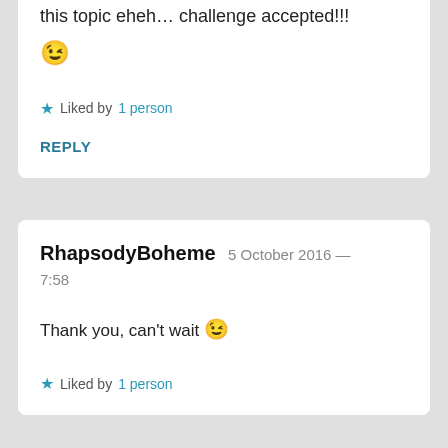this topic eheh… challenge accepted!!!
😉
★ Liked by 1 person
REPLY
RhapsodyBoheme 5 October 2016 — 7:58
Thank you, can't wait 😉
★ Liked by 1 person